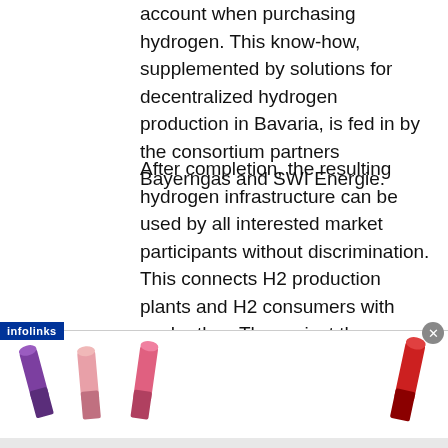account when purchasing hydrogen. This know-how, supplemented by solutions for decentralized hydrogen production in Bavaria, is fed in by the consortium partners Bayerngas and SWI Energie.
After completion, the resulting hydrogen infrastructure can be used by all interested market participants without discrimination. This connects H2 production plants and H2 consumers with each other. The project thus creates the conditions for rapid connection to the national and European hydrogen
[Figure (other): M·A·C cosmetics advertisement banner showing lipsticks in purple, pink, and red colors with M·A·C logo and SHOP NOW button. Infolinks badge visible at top left. Close button at top right.]